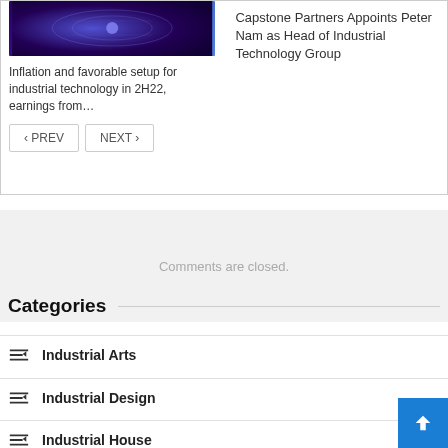[Figure (photo): Abstract blue/purple digital technology background image]
Inflation and favorable setup for industrial technology in 2H22, earnings from…
Capstone Partners Appoints Peter Nam as Head of Industrial Technology Group
< PREV   NEXT >
Comments are closed.
Categories
Industrial Arts
Industrial Design
Industrial House